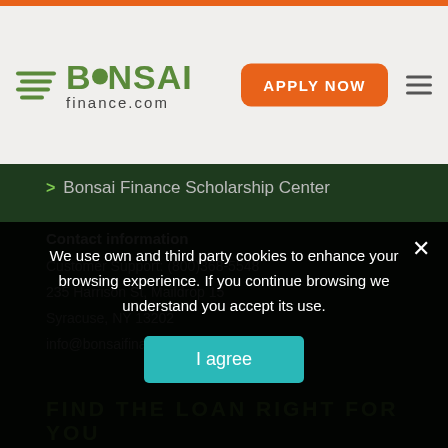Bonsai finance.com
> Bonsai Finance Scholarship Center
Contact information
Customer Support: (800)368-5548
235 Harrison St, Maildrop 15
Syracuse, NY 13202
info@bonsaifinance.com
FIND THE LOAN RIGHT FOR YOU
We use own and third party cookies to enhance your browsing experience. If you continue browsing we understand you accept its use.